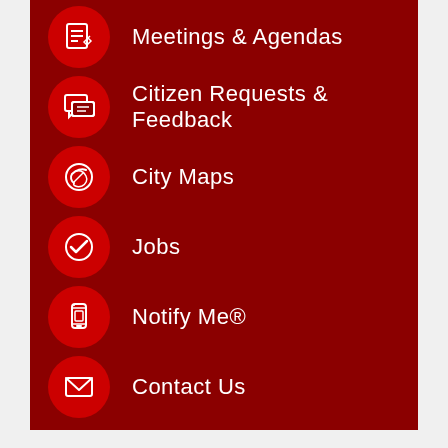Meetings & Agendas
Citizen Requests & Feedback
City Maps
Jobs
Notify Me®
Contact Us